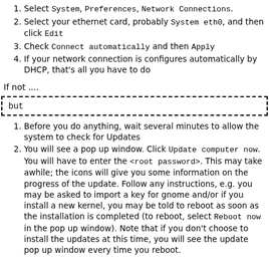Select System, Preferences, Network Connections.
Select your ethernet card, probably System eth0, and then click Edit
Check Connect automatically and then Apply
If your network connection is configures automatically by DHCP, that's all you have to do
If not ....
but
Before you do anything, wait several minutes to allow the system to check for Updates
You will see a pop up window. Click Update computer now. You will have to enter the <root password>. This may take awhile; the icons will give you some information on the progress of the update. Follow any instructions, e.g. you may be asked to import a key for gnome and/or if you install a new kernel, you may be told to reboot as soon as the installation is completed (to reboot, select Reboot now in the pop up window). Note that if you don't choose to install the updates at this time, you will see the update pop up window every time you reboot.